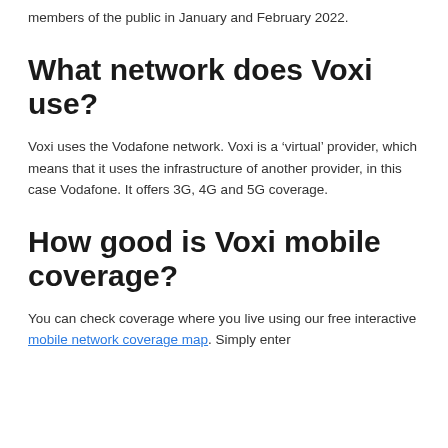members of the public in January and February 2022.
What network does Voxi use?
Voxi uses the Vodafone network. Voxi is a ‘virtual’ provider, which means that it uses the infrastructure of another provider, in this case Vodafone. It offers 3G, 4G and 5G coverage.
How good is Voxi mobile coverage?
You can check coverage where you live using our free interactive mobile network coverage map. Simply enter